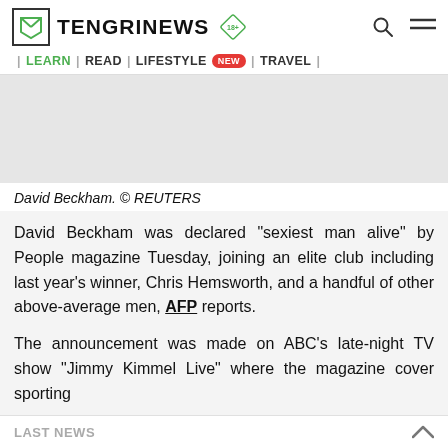TENGRINEWS | LEARN | READ | LIFESTYLE NEW | TRAVEL
[Figure (photo): Gray placeholder area for David Beckham photo]
David Beckham. © REUTERS
David Beckham was declared "sexiest man alive" by People magazine Tuesday, joining an elite club including last year's winner, Chris Hemsworth, and a handful of other above-average men, AFP reports.
The announcement was made on ABC's late-night TV show "Jimmy Kimmel Live" where the magazine cover sporting
LAST NEWS